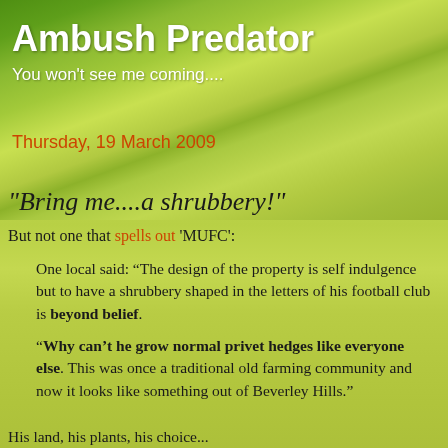[Figure (photo): Green grass with water droplets background image covering the upper portion of the page]
Ambush Predator
You won't see me coming....
Thursday, 19 March 2009
"Bring me....a shrubbery!"
But not one that spells out 'MUFC':
One local said: “The design of the property is self indulgence but to have a shrubbery shaped in the letters of his football club is beyond belief.
“Why can’t he grow normal privet hedges like everyone else. This was once a traditional old farming community and now it looks like something out of Beverley Hills.”
His land, his plants, his choice...